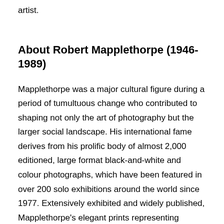artist.
About Robert Mapplethorpe (1946-1989)
Mapplethorpe was a major cultural figure during a period of tumultuous change who contributed to shaping not only the art of photography but the larger social landscape. His international fame derives from his prolific body of almost 2,000 editioned, large format black-and-white and colour photographs, which have been featured in over 200 solo exhibitions around the world since 1977. Extensively exhibited and widely published, Mapplethorpe's elegant prints representing portraits, nudes, flowers, and erotic and sadomasochistic subjects dominated photography in the late 20th century. Less known are the over 1,500